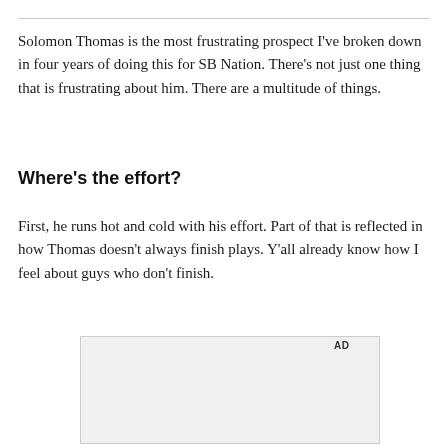Solomon Thomas is the most frustrating prospect I've broken down in four years of doing this for SB Nation. There's not just one thing that is frustrating about him. There are a multitude of things.
Where's the effort?
First, he runs hot and cold with his effort. Part of that is reflected in how Thomas doesn't always finish plays. Y'all already know how I feel about guys who don't finish.
[Figure (other): Advertisement placeholder box with 'AD' label in upper right corner]